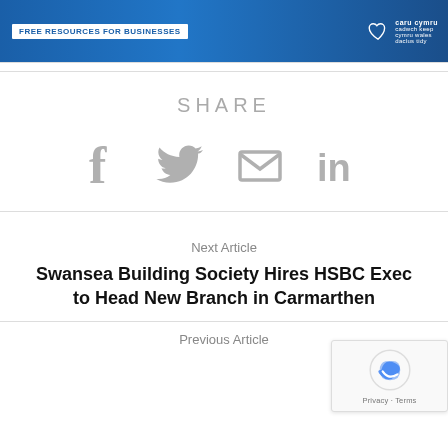[Figure (infographic): Blue banner advertisement with text 'FREE RESOURCES FOR BUSINESSES' on white label, caru cymru heart logo, and 'cadwch keep cymru wales daclus tidy' text on right]
SHARE
[Figure (infographic): Social share icons: Facebook, Twitter, Email, LinkedIn — all in gray]
Next Article
Swansea Building Society Hires HSBC Exec to Head New Branch in Carmarthen
Previous Article